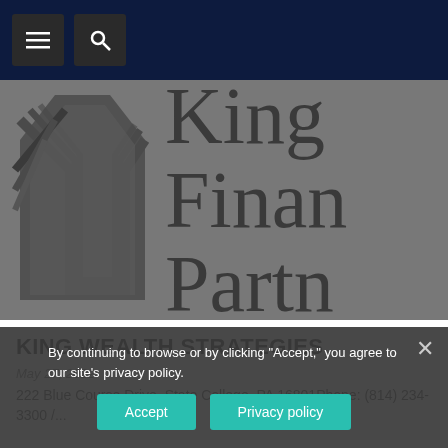Navigation bar with menu and search buttons
[Figure (logo): King Financial Partners logo — angular geometric chevron/shield graphic on the left in dark gray, with large serif text 'King Finan' and 'Partne' (partially visible) on a gray background]
KING WEALTH STRATEGIES
May 27, 2022
222 Blue Course Drive, State College, PA 16801Phone: (814) 234-3300 /...
By continuing to browse or by clicking "Accept," you agree to our site's privacy policy.